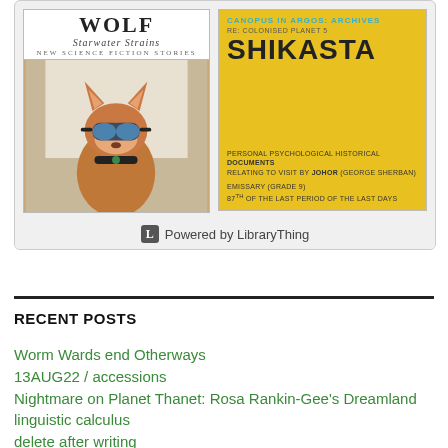[Figure (screenshot): LibraryThing widget showing two book covers: 'Starwater Strains: New Science Fiction Stories' (with a fox wearing goggles) and 'Canopus in Argos: Archives - Shikasta' (yellow cover). Powered by LibraryThing logo at bottom.]
RECENT POSTS
Worm Wards end Otherways
13AUG22 / accessions
Nightmare on Planet Thanet: Rosa Rankin-Gee's Dreamland
linguistic calculus
delete after writing